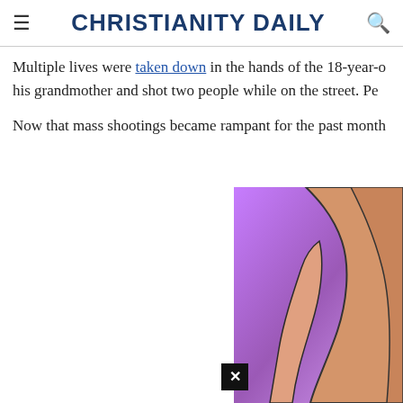CHRISTIANITY DAILY
Multiple lives were taken down in the hands of the 18-year-o... his grandmother and shot two people while on the street. Pe...
Now that mass shootings became rampant for the past month...
[Figure (illustration): Cropped illustration showing a figure with a purple/violet gradient background and skin-toned arms visible]